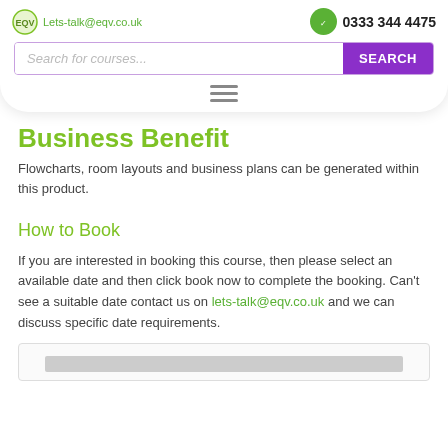Lets-talk@eqv.co.uk | 0333 344 4475
[Figure (screenshot): Search bar with placeholder text 'Search for courses...' and purple SEARCH button]
[Figure (other): Hamburger menu icon (three horizontal lines)]
Business Benefit
Flowcharts, room layouts and business plans can be generated within this product.
How to Book
If you are interested in booking this course, then please select an available date and then click book now to complete the booking. Can't see a suitable date contact us on lets-talk@eqv.co.uk and we can discuss specific date requirements.